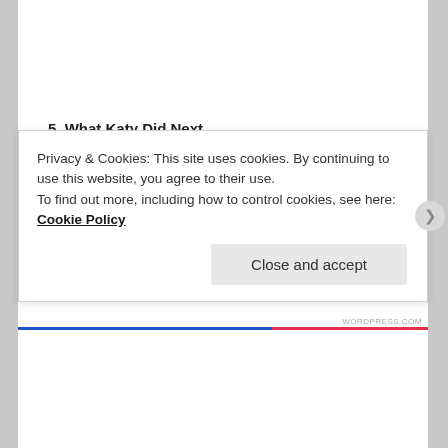5. What Katy Did Next
Dallas, just like Debbie did!
6. Dune
A novella about beach sex and the horrors of sand rash in unmentionable places.
7. Cider with Rosie
This is the sequel to Titanic and charts Rose's descent into prostitution and alcoholism.
Privacy & Cookies: This site uses cookies. By continuing to use this website, you agree to their use.
To find out more, including how to control cookies, see here: Cookie Policy